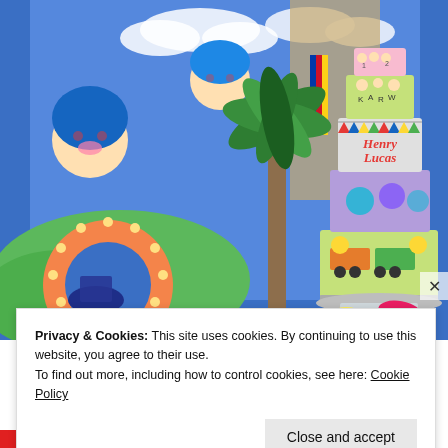[Figure (photo): A colorful birthday party scene featuring a tall multi-tiered decorated cake with 'Henry Lucas' written on it, set against a backdrop with illustrated cartoon children. There are palm tree decorations, flip flops, and a large round orange lit marquee letter 'O' visible in the foreground.]
Privacy & Cookies: This site uses cookies. By continuing to use this website, you agree to their use.
To find out more, including how to control cookies, see here: Cookie Policy
Close and accept